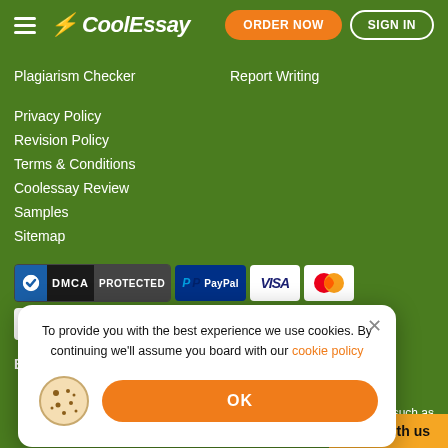[Figure (logo): CoolEssay logo with hamburger menu icon]
ORDER NOW
SIGN IN
Plagiarism Checker
Report Writing
Privacy Policy
Revision Policy
Terms & Conditions
Coolessay Review
Samples
Sitemap
[Figure (logo): DMCA Protected badge]
[Figure (logo): PayPal payment badge]
[Figure (logo): VISA payment badge]
[Figure (logo): Mastercard payment badge]
[Figure (logo): SafeCharge payment badge]
Bluebird Consulting Service Ltd 14 St Mary's way,
To provide you with the best experience we use cookies. By continuing we'll assume you board with our cookie policy
OK
Chat with us